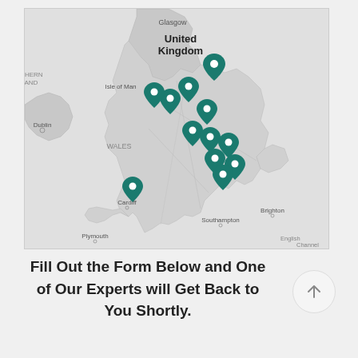[Figure (map): Map of United Kingdom showing location pins (teal/dark green markers) clustered across England, with labels for Glasgow, United Kingdom, Isle of Man, Dublin, WALES, Cardiff, Southampton, Brighton, Plymouth, and English Channel visible.]
Fill Out the Form Below and One of Our Experts will Get Back to You Shortly.